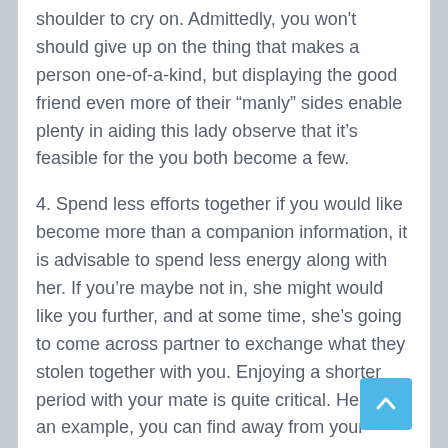shoulder to cry on. Admittedly, you won't should give up on the thing that makes a person one-of-a-kind, but displaying the good friend even more of their “manly” sides enable plenty in aiding this lady observe that it’s feasible for the you both become a few.
4. Spend less efforts together if you would like become more than a companion information, it is advisable to spend less energy along with her. If you’re maybe not in, she might would like you further, and at some time, she’s going to come across partner to exchange what they stolen together with you. Enjoying a shorter period with your mate is quite critical. Here is an example, you can find away from your globe, inhale independently, overlook both; you will have something to talk about and think about your